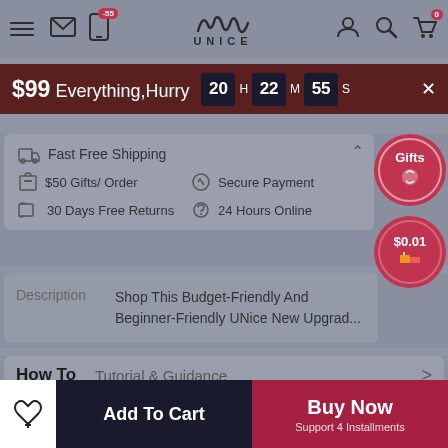UNice navigation bar with menu, mail, app icon (-55), UNice logo, profile, search, cart (0)
$99 Everything, Hurry 20 H 22 M 55 S
Fast Free Shipping
$50 Gifts/ Order
Secure Payment
30 Days Free Returns
24 Hours Online
Description Shop This Budget-Friendly And Beginner-Friendly UNice New Upgrad...
How To Tutorial & Guidance
Add To Cart
Buy Now Support 4 Installments